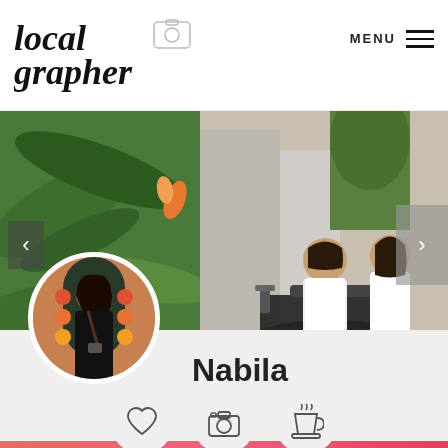[Figure (logo): Localgrapher logo with handwritten italic font and a camera icon]
MENU
[Figure (photo): Banner photo showing tropical green plants on left and a couple sitting on a motorcycle on right, outdoor setting in a narrow alley]
[Figure (photo): Circular profile photo of a woman in black outfit standing in front of a decorated arch]
Nabila
[Figure (illustration): Heart icon inside a light grey circle]
[Figure (illustration): Camera/photography icon inside a light grey circle]
[Figure (illustration): Coffee cup with steam icon inside a light grey circle]